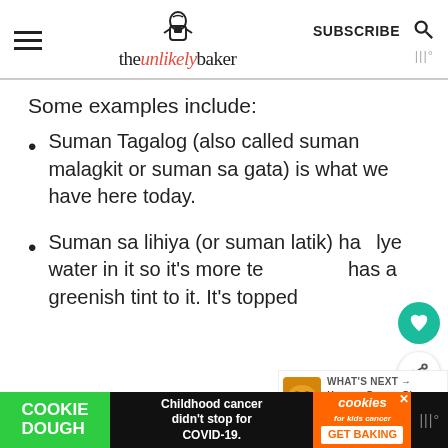theunlikelybaker — SUBSCRIBE
Some examples include:
Suman Tagalog (also called suman malagkit or suman sa gata) is what we have here today.
Suman sa lihiya (or suman latik) has lye water in it so it's more te[nder and] has a greenish tint to it. It's topped [with ...]
[Figure (screenshot): Cookie Dough advertisement bar at bottom: green COOKIE DOUGH text, 'Childhood cancer didn't stop for COVID-19.', cookies for kids cancer GET BAKING orange button, WW logo]